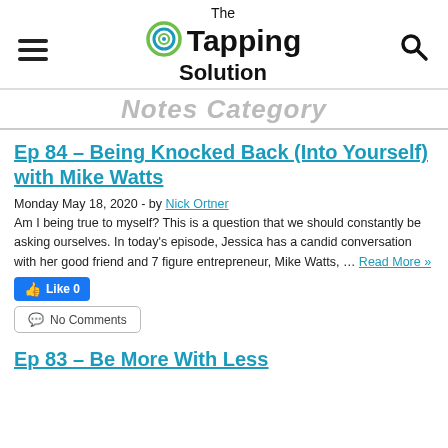The Tapping Solution
Notes Category
Ep 84 – Being Knocked Back (Into Yourself) with Mike Watts
Monday May 18, 2020 - by Nick Ortner
Am I being true to myself? This is a question that we should constantly be asking ourselves. In today's episode, Jessica has a candid conversation with her good friend and 7 figure entrepreneur, Mike Watts, … Read More »
👍 Like 0
💬 No Comments
Ep 83 – Be More With Less